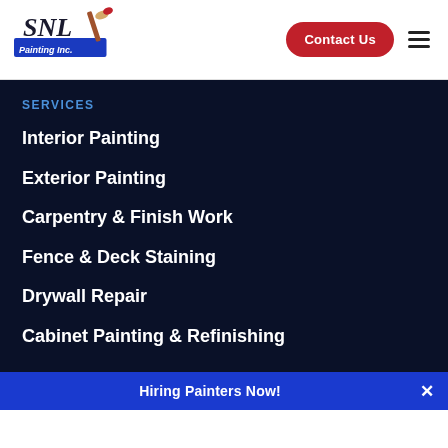[Figure (logo): SNL Painting Inc. logo with paintbrush]
Contact Us
SERVICES
Interior Painting
Exterior Painting
Carpentry & Finish Work
Fence & Deck Staining
Drywall Repair
Cabinet Painting & Refinishing
Hiring Painters Now!